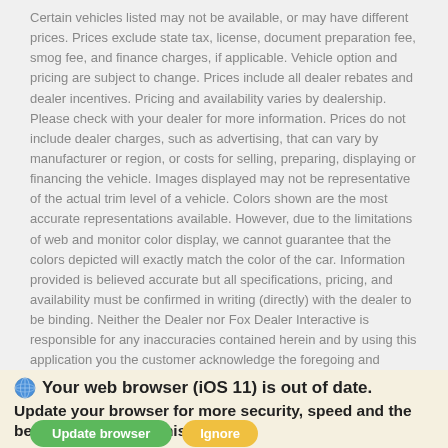Certain vehicles listed may not be available, or may have different prices. Prices exclude state tax, license, document preparation fee, smog fee, and finance charges, if applicable. Vehicle option and pricing are subject to change. Prices include all dealer rebates and dealer incentives. Pricing and availability varies by dealership. Please check with your dealer for more information. Prices do not include dealer charges, such as advertising, that can vary by manufacturer or region, or costs for selling, preparing, displaying or financing the vehicle. Images displayed may not be representative of the actual trim level of a vehicle. Colors shown are the most accurate representations available. However, due to the limitations of web and monitor color display, we cannot guarantee that the colors depicted will exactly match the color of the car. Information provided is believed accurate but all specifications, pricing, and availability must be confirmed in writing (directly) with the dealer to be binding. Neither the Dealer nor Fox Dealer Interactive is responsible for any inaccuracies contained herein and by using this application you the customer acknowledge the foregoing and accept such terms.
Your web browser (iOS 11) is out of date. Update your browser for more security, speed and the best experience on this site.
Net Price DOES NOT include dealer or vendor installed upgrades, accessories, or added after market items. These prices are OPTIONAL and are not required for purchase. * Call For Details!